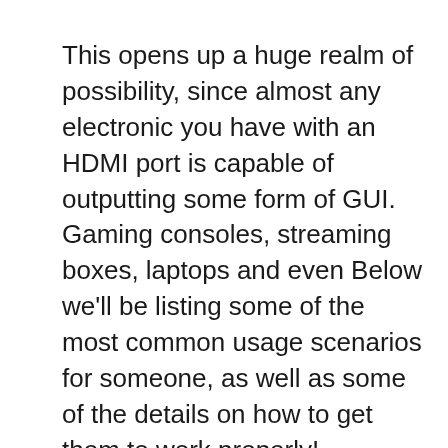This opens up a huge realm of possibility, since almost any electronic you have with an HDMI port is capable of outputting some form of GUI. Gaming consoles, streaming boxes, laptops and even Below we'll be listing some of the most common usage scenarios for someone, as well as some of the details on how to get them to work properly!